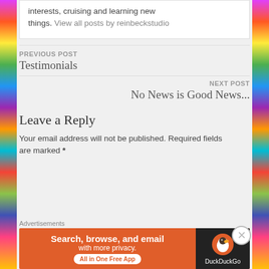interests, cruising and learning new things. View all posts by reinbeckstudio
PREVIOUS POST
Testimonials
NEXT POST
No News is Good News...
Leave a Reply
Your email address will not be published. Required fields are marked *
Advertisements
[Figure (other): DuckDuckGo advertisement banner: orange background with text 'Search, browse, and email with more privacy. All in One Free App' and DuckDuckGo logo on dark background]